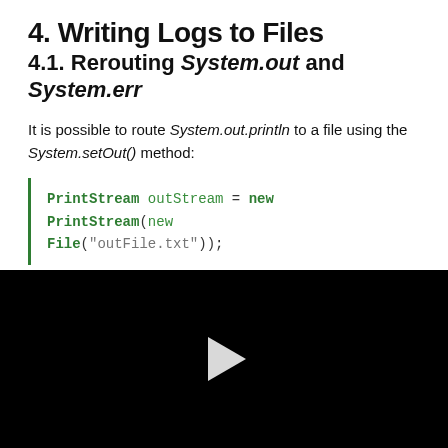4. Writing Logs to Files
4.1. Rerouting System.out and System.err
It is possible to route System.out.println to a file using the System.setOut() method:
PrintStream outStream = new PrintStream(new File("outFile.txt"));
[Figure (screenshot): Black video player panel with a white play button triangle in the center]